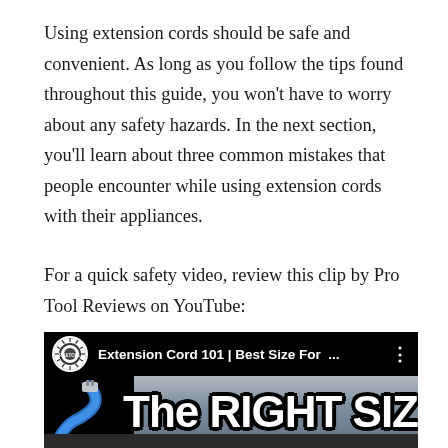Using extension cords should be safe and convenient. As long as you follow the tips found throughout this guide, you won't have to worry about any safety hazards. In the next section, you'll learn about three common mistakes that people encounter while using extension cords with their appliances.
For a quick safety video, review this clip by Pro Tool Reviews on YouTube:
[Figure (screenshot): YouTube video thumbnail showing 'Extension Cord 101 | Best Size For ...' by Pro Tool Reviews channel, with large bold white text reading 'The RIGHT SIZ' visible on a thumbnail image showing a blue extension cord.]